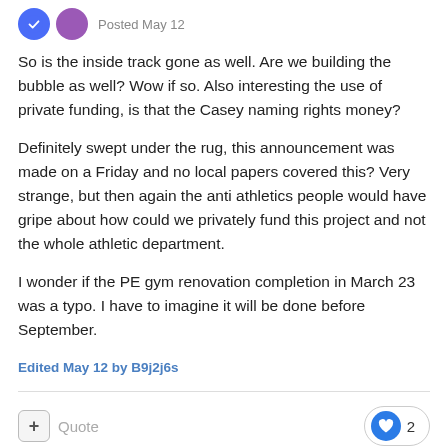Posted May 12
So is the inside track gone as well.  Are we building the bubble as well?  Wow if so.  Also interesting the use of private funding, is that the Casey naming rights money?
Definitely swept under the rug, this announcement was made on a Friday and no local papers covered this?  Very strange, but then again the anti athletics people would have gripe about how could we privately fund this project and not the whole athletic department.
I wonder if the PE gym renovation completion in March 23 was a typo.  I have to imagine it will be done before September.
Edited May 12 by B9j2j6s
Quote  2
Eli